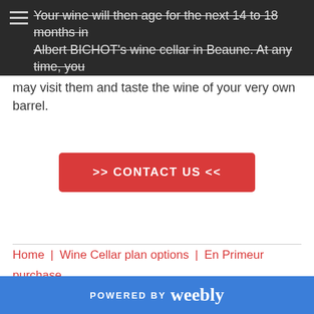Your wine will then age for the next 14 to 18 months in Albert BICHOT's wine cellar in Beaune. At any time, you may visit them and taste the wine of your very own barrel.
may visit them and taste the wine of your very own barrel.
[Figure (other): Red button with text '>> CONTACT US <<']
Home | Wine Cellar plan options | En Primeur purchase | TWCC Benefits | Storage&Insurance | About us | Contact us
POWERED BY weebly